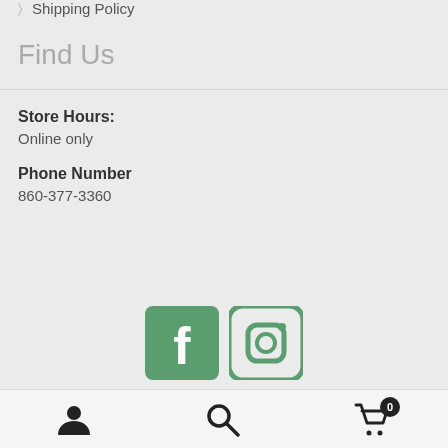Shipping Policy
Find Us
Store Hours:
Online only
Phone Number
860-377-3360
[Figure (logo): Facebook and Instagram social media icons in green]
User account icon, Search icon, Shopping cart icon with badge 0